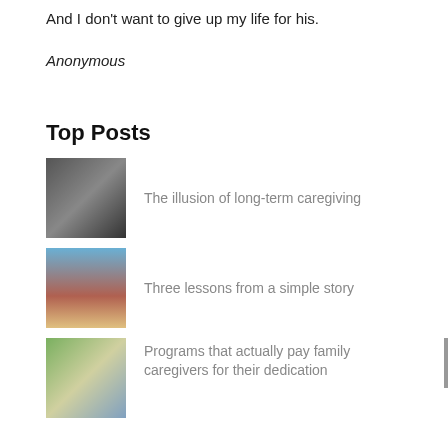And I don't want to give up my life for his.
Anonymous
Top Posts
The illusion of long-term caregiving
Three lessons from a simple story
Programs that actually pay family caregivers for their dedication
How to Help A Parent Who Refuses to Bathe or Shower
A Poem after my Father passed away